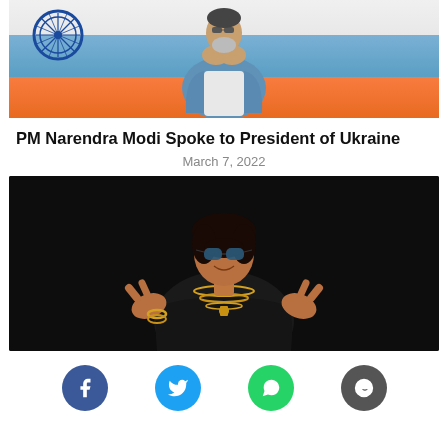[Figure (photo): Photo of PM Narendra Modi in prayer pose (namaste) wearing blue vest, Indian flag visible in background]
PM Narendra Modi Spoke to President of Ukraine
March 7, 2022
[Figure (photo): Photo of Bappi Lahiri wearing sunglasses, black jacket, and multiple gold chains, making gestures with both hands against dark background]
[Figure (infographic): Social media share buttons: Facebook (blue), Twitter (cyan), WhatsApp (green), Reddit (dark grey)]